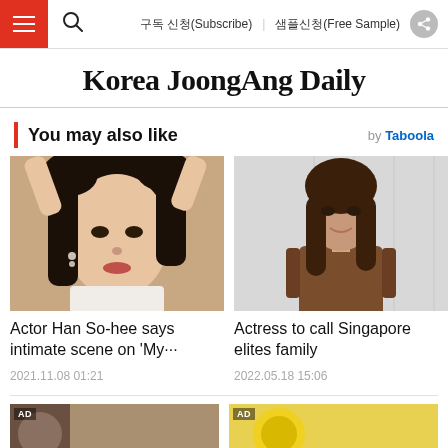구독 신청(Subscribe)   샘플신청(Free Sample)
Korea JoongAng Daily
You may also like
[Figure (photo): Photo of actor Han So-hee, a young Korean woman with dark hair and subtle makeup]
Actor Han So-hee says intimate scene on 'My···
2021.11.08 01:21
[Figure (photo): Photo of actress in brown outfit, smiling, standing in front of a light background]
Actress to call Singapore elites family
2022.05.18 15:06
[Figure (photo): AD - partially visible image, dark tones]
[Figure (photo): AD - partially visible image, yellow tones]